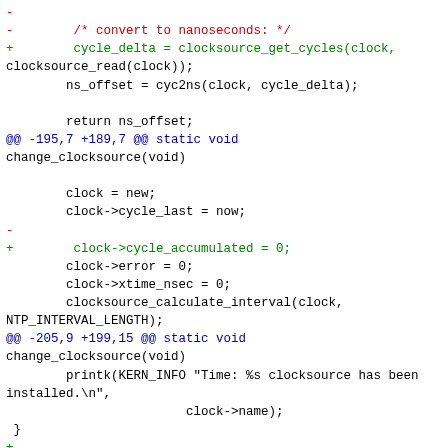Diff/patch code block showing changes to clocksource timing code in C, including removal of nanosecond conversion comment, addition of cycle_delta and ns_offset lines, hunk headers for change_clocksource function, addition of cycle_accumulated reset, clocksource_calculate_interval call, and new timekeeping_accumulate function.